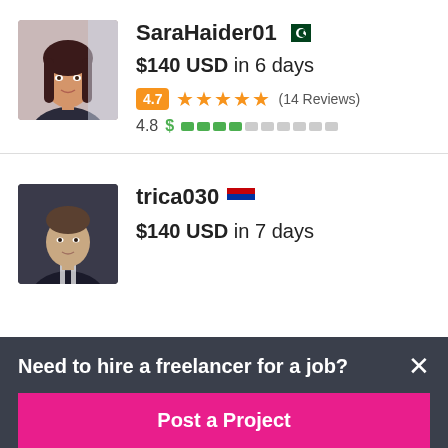[Figure (photo): Profile photo of SaraHaider01, a woman with long dark hair]
SaraHaider01 🇵🇰
$140 USD in 6 days
4.7 ★★★★★ (14 Reviews)
4.8 $ ████░░░░░░
[Figure (photo): Profile photo of trica030, a man in dark clothing]
trica030 🇷🇸
$140 USD in 7 days
Need to hire a freelancer for a job?
Post a Project